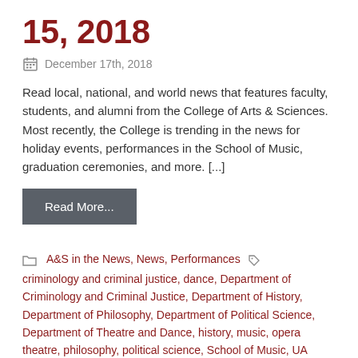15, 2018
December 17th, 2018
Read local, national, and world news that features faculty, students, and alumni from the College of Arts & Sciences. Most recently, the College is trending in the news for holiday events, performances in the School of Music, graduation ceremonies, and more. [...]
Read More...
A&S in the News, News, Performances  criminology and criminal justice, dance, Department of Criminology and Criminal Justice, Department of History, Department of Philosophy, Department of Political Science, Department of Theatre and Dance, history, music, opera theatre, philosophy, political science, School of Music, UA Museums